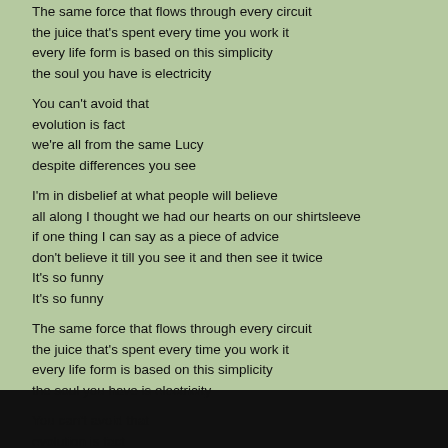The same force that flows through every circuit
the juice that's spent every time you work it
every life form is based on this simplicity
the soul you have is electricity
You can't avoid that
evolution is fact
we're all from the same Lucy
despite differences you see
I'm in disbelief at what people will believe
all along I thought we had our hearts on our shirtsleeve
if one thing I can say as a piece of advice
don't believe it till you see it and then see it twice
It's so funny
It's so funny
The same force that flows through every circuit
the juice that's spent every time you work it
every life form is based on this simplicity
the soul you have is electricity
You can't avoid that
evolution is fact
we're all from the same Lucy
despite differences you see